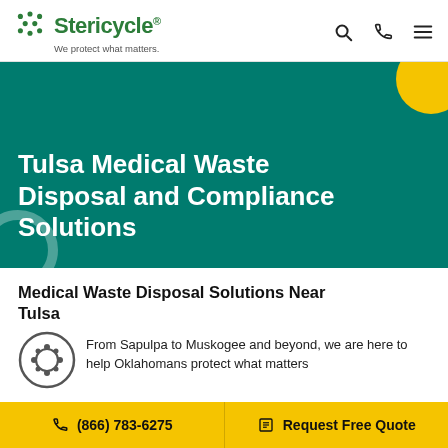[Figure (logo): Stericycle logo with green hex dots and company name, tagline 'We protect what matters.']
Tulsa Medical Waste Disposal and Compliance Solutions
Medical Waste Disposal Solutions Near Tulsa
From Sapulpa to Muskogee and beyond, we are here to help Oklahomans protect what matters
(866) 783-6275  |  Request Free Quote